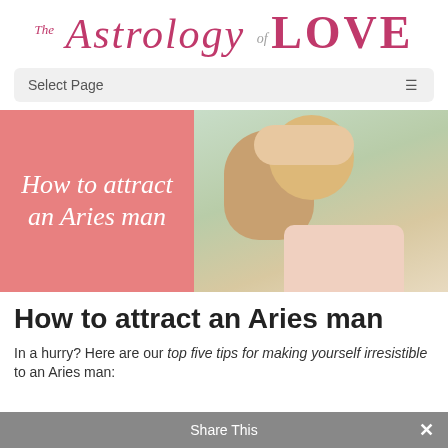[Figure (logo): The Astrology of LOVE website logo in pink/crimson cursive and bold serif font]
Select Page
[Figure (illustration): Hero image: pink overlay box with italic white text 'How to attract an Aries man' on the left, and a photo of a smiling couple (woman hugging man from behind) on the right]
How to attract an Aries man
In a hurry? Here are our top five tips for making yourself irresistible to an Aries man:
Share This